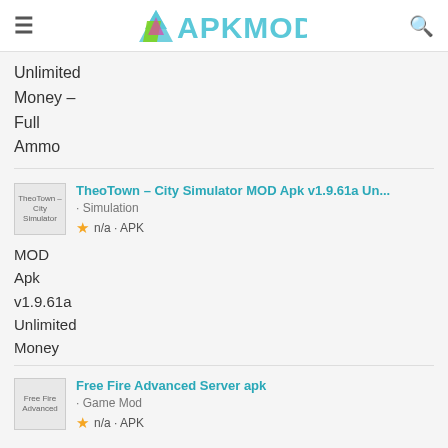APKMODI
Unlimited Money – Full Ammo
TheoTown – City Simulator MOD Apk v1.9.61a Un... · Simulation · n/a · APK
Free Fire Advanced Server apk · Game Mod · n/a · APK